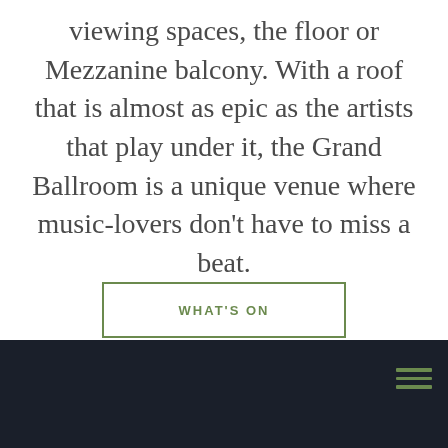viewing spaces, the floor or Mezzanine balcony. With a roof that is almost as epic as the artists that play under it, the Grand Ballroom is a unique venue where music-lovers don't have to miss a beat.
WHAT'S ON
[Figure (photo): Sunset or dusk sky with dramatic clouds in warm orange and golden tones, transitioning to a dark strip at the bottom which forms the base of the page with a hamburger menu icon in green on the right.]